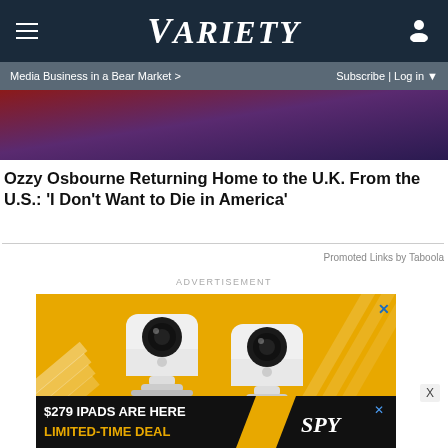Variety
Media Business in a Bear Market > Subscribe | Login
[Figure (photo): Hero image with dark red and purple background, partial view of a person]
Ozzy Osbourne Returning Home to the U.K. From the U.S.: 'I Don't Want to Die in America'
Promoted Links by Taboola
ADVERTISEMENT
[Figure (photo): Advertisement showing two white Blink security cameras on a yellow/gold background with diagonal stripe patterns]
[Figure (photo): Advertisement banner: $279 IPADS ARE HERE LIMITED-TIME DEAL with SPY logo]